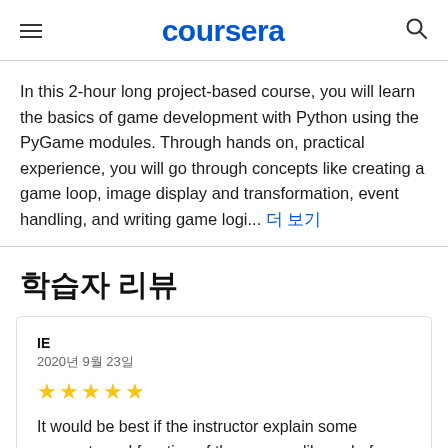coursera
In this 2-hour long project-based course, you will learn the basics of game development with Python using the PyGame modules. Through hands on, practical experience, you will go through concepts like creating a game loop, image display and transformation, event handling, and writing game logi... 더 보기
학습자 리뷰
IE
2020년 9월 23일
★★★★★
It would be best if the instructor explain some concepts and function of the pygame library before the project starts. Still, it was a great experience to m...